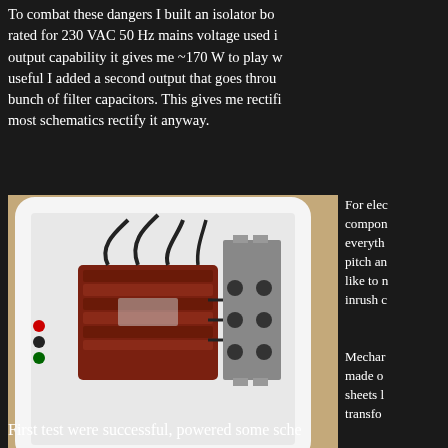To combat these dangers I built an isolator bo... rated for 230 VAC 50 Hz mains voltage used i... output capability it gives me ~170 W to play w... useful I added a second output that goes throu... bunch of filter capacitors. This gives me rectifi... most schematics rectify it anyway.
[Figure (photo): Interior of an isolator box showing a transformer (reddish coil), metal bracket, wiring, and colored connectors (red, black, green) on the left side. The box is white/light colored, sitting on a wooden surface.]
Insides of the isolator. Most of the weight and room is taken by transformer. (Fuse not wired yet)
For elec compo everyth pitch an like to n inrush c
Mechar made o sheets I transfo
First test were successful, powered some sche...